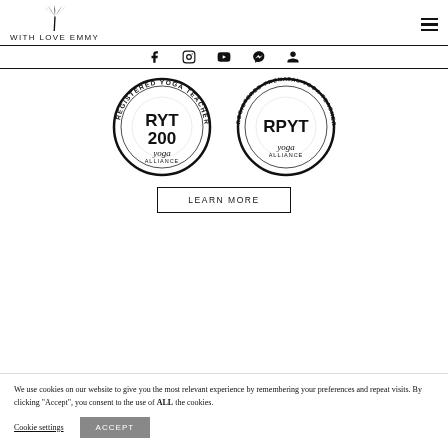[Figure (logo): With Love Emmy logo: palm tree icon above text 'WITH LOVE EMMY' in spaced sans-serif capitals]
[Figure (other): Social media icons row: Facebook, Instagram, YouTube, Messenger, Account/person icon]
[Figure (other): Two Yoga Alliance badge seals: RYT 200 Registered Yoga Teacher and RPYT Registered Prenatal Yoga Teacher]
LEARN MORE
We use cookies on our website to give you the most relevant experience by remembering your preferences and repeat visits. By clicking "Accept", you consent to the use of ALL the cookies.
Cookie settings
ACCEPT